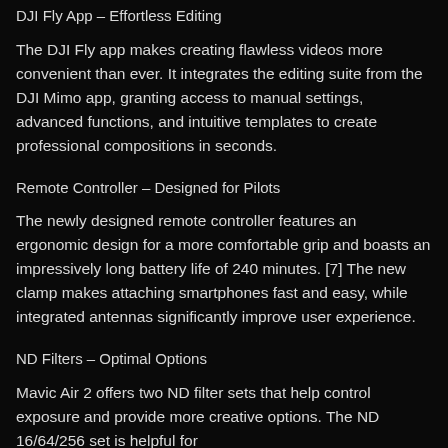DJI Fly App – Effortless Editing
The DJI Fly app makes creating flawless videos more convenient than ever. It integrates the editing suite from the DJI Mimo app, granting access to manual settings, advanced functions, and intuitive templates to create professional compositions in seconds.
Remote Controller – Designed for Pilots
The newly designed remote controller features an ergonomic design for a more comfortable grip and boasts an impressively long battery life of 240 minutes. [7] The new clamp makes attaching smartphones fast and easy, while integrated antennas significantly improve user experience.
ND Filters – Optimal Options
Mavic Air 2 offers two ND filter sets that help control exposure and provide more creative options. The ND 16/64/256 set is helpful for